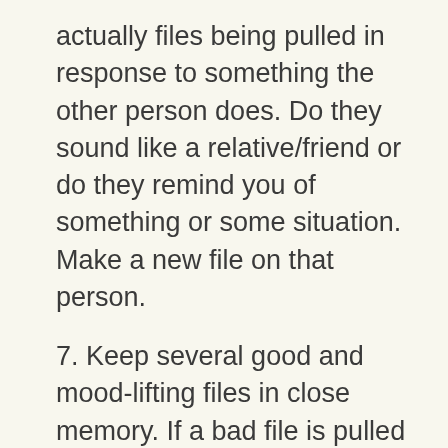actually files being pulled in response to something the other person does. Do they sound like a relative/friend or do they remind you of something or some situation. Make a new file on that person.
7. Keep several good and mood-lifting files in close memory. If a bad file is pulled during the day, you then have good files ready to recall - and change your mood. Many people have files about vacation or other happy times to be used if a bad file is pulled. Always follow a bad file with a